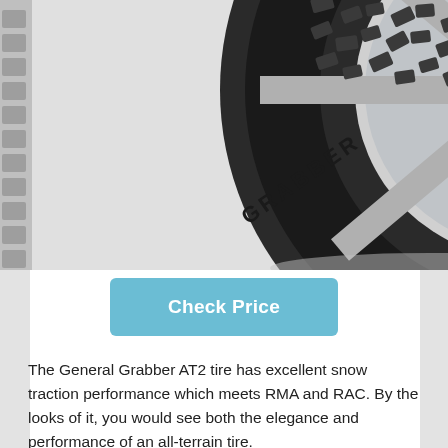[Figure (photo): Photo of a General Grabber AT2 all-terrain tire mounted on a chrome wheel, shown at an angle. The tire has an aggressive tread pattern. The background shows faded tire tread patterns on the left and right edges.]
Check Price
The General Grabber AT2 tire has excellent snow traction performance which meets RMA and RAC. By the looks of it, you would see both the elegance and performance of an all-terrain tire.